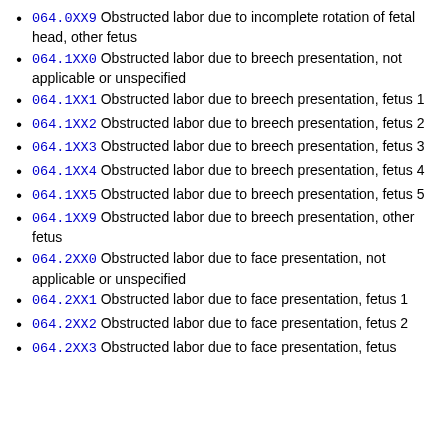064.0XX9 Obstructed labor due to incomplete rotation of fetal head, other fetus
064.1XX0 Obstructed labor due to breech presentation, not applicable or unspecified
064.1XX1 Obstructed labor due to breech presentation, fetus 1
064.1XX2 Obstructed labor due to breech presentation, fetus 2
064.1XX3 Obstructed labor due to breech presentation, fetus 3
064.1XX4 Obstructed labor due to breech presentation, fetus 4
064.1XX5 Obstructed labor due to breech presentation, fetus 5
064.1XX9 Obstructed labor due to breech presentation, other fetus
064.2XX0 Obstructed labor due to face presentation, not applicable or unspecified
064.2XX1 Obstructed labor due to face presentation, fetus 1
064.2XX2 Obstructed labor due to face presentation, fetus 2
064.2XX3 Obstructed labor due to face presentation, fetus